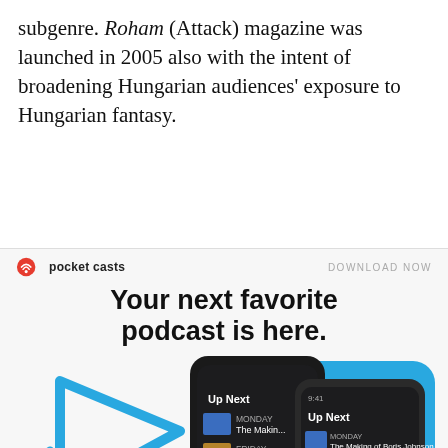subgenre. Roham (Attack) magazine was launched in 2005 also with the intent of broadening Hungarian audiences' exposure to Hungarian fantasy.
[Figure (screenshot): Pocket Casts advertisement showing 'Your next favorite podcast is here.' with phone mockups displaying the app UI including 'Up Next' queue with podcast episodes.]
Privacy & Cookies: This site uses cookies. By continuing to use this website, you agree to their use.
To find out more, including how to control cookies, see here: Cookie Policy
Close and accept
This article originally appeared in Roham magazine